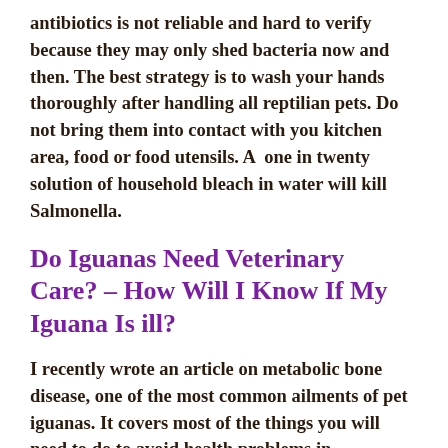antibiotics is not reliable and hard to verify because they may only shed bacteria now and then. The best strategy is to wash your hands thoroughly after handling all reptilian pets. Do not bring them into contact with you kitchen area, food or food utensils. A  one in twenty solution of household bleach in water will kill Salmonella.
Do Iguanas Need Veterinary Care? – How Will I Know If My Iguana Is ill?
I recently wrote an article on metabolic bone disease, one of the most common ailments of pet iguanas. It covers most of the things you will need to do to avoid health problems in